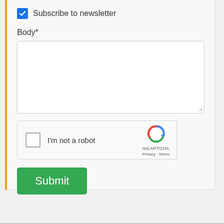☑ Subscribe to newsletter
Body*
[Figure (screenshot): Empty textarea input field with resize handle]
[Figure (screenshot): reCAPTCHA widget with unchecked checkbox, 'I'm not a robot' text, reCAPTCHA logo, Privacy and Terms links]
Submit